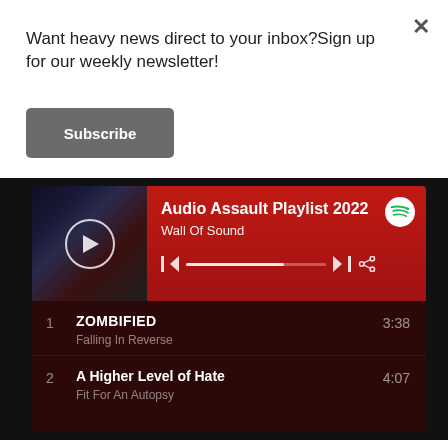Want heavy news direct to your inbox?Sign up for our weekly newsletter!
Subscribe
[Figure (screenshot): Spotify embedded playlist widget showing 'Audio Assault Playlist 2022' by Wall Of Sound. Header area is red with album art on the left showing a play button circle, and Spotify logo top right. Below are two tracks: 1. ZOMBIFIED by Falling In Reverse (3:38), 2. A Higher Level of Hate by Fit For An Autopsy (4:07). Background is dark red/maroon.]